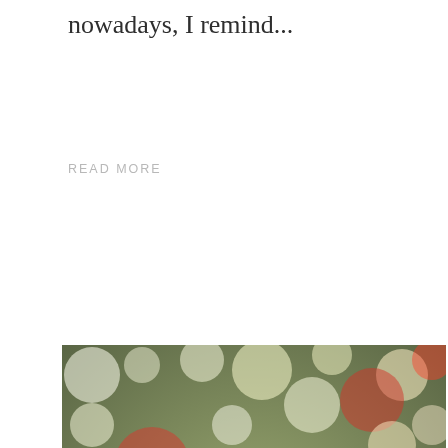nowadays, I remind...
READ MORE
[Figure (illustration): Bokeh lights background image with blurred colorful circles (white, red, green, gold) with bold dark olive/brown text reading 'DECEMBER READING ROUND UP']